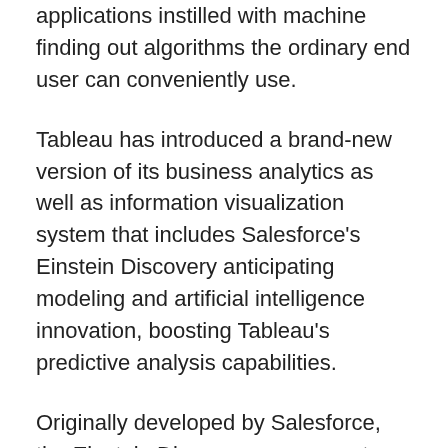applications instilled with machine finding out algorithms the ordinary end user can conveniently use.
Tableau has introduced a brand-new version of its business analytics as well as information visualization system that includes Salesforce's Einstein Discovery anticipating modeling and artificial intelligence innovation, boosting Tableau's predictive analysis capabilities.
Originally developed by Salesforce, the Einstein Discovery component uses machine learning algorithms to create surface patterns in data. Including that capability within Tableau will make it possible for company individuals to use